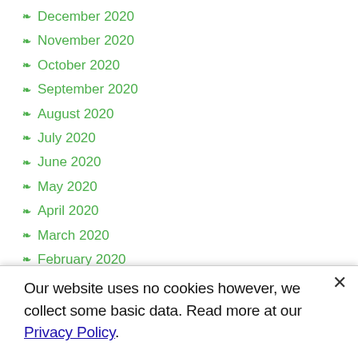December 2020
November 2020
October 2020
September 2020
August 2020
July 2020
June 2020
May 2020
April 2020
March 2020
February 2020
December 2019
October 2019
September 2019
Our website uses no cookies however, we collect some basic data. Read more at our Privacy Policy.